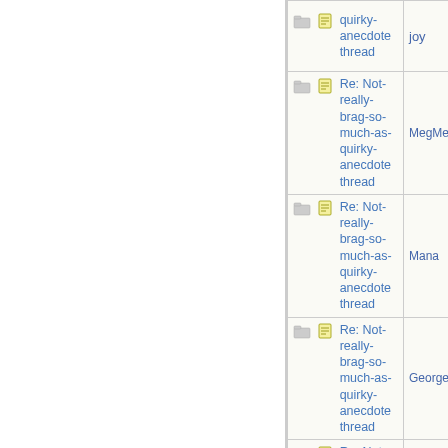| Subject | Author |
| --- | --- |
| quirky-anecdote thread | joy |
| Re: Not-really-brag-so-much-as-quirky-anecdote thread | MegMeg |
| Re: Not-really-brag-so-much-as-quirky-anecdote thread | Mana |
| Re: Not-really-brag-so-much-as-quirky-anecdote thread | George C |
| Re: Not-really-brag-so-much-as-quirky-anecdote thread | aquinas |
| Re: Not-really-brag-so-much-as-quirky-anecdote thread | it_is_2da |
| Re: Not-really-brag-so-much-as-quirky-anecdote thread | HowlerKa |